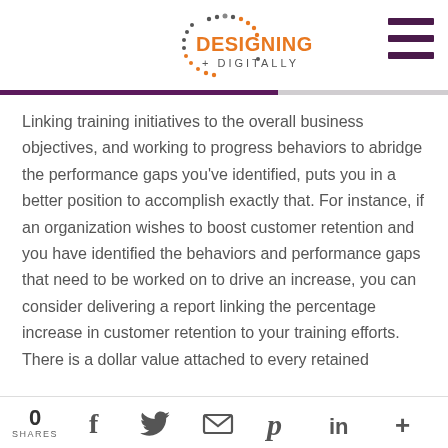Designing Digitally logo and navigation
Linking training initiatives to the overall business objectives, and working to progress behaviors to abridge the performance gaps you’ve identified, puts you in a better position to accomplish exactly that. For instance, if an organization wishes to boost customer retention and you have identified the behaviors and performance gaps that need to be worked on to drive an increase, you can consider delivering a report linking the percentage increase in customer retention to your training efforts. There is a dollar value attached to every retained
0 SHARES | social share icons: Facebook, Twitter, Email, Pinterest, LinkedIn, More